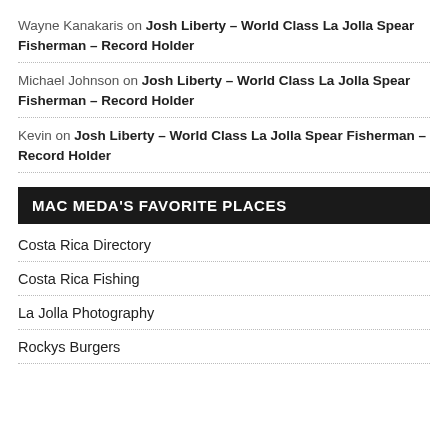Wayne Kanakaris on Josh Liberty – World Class La Jolla Spear Fisherman – Record Holder
Michael Johnson on Josh Liberty – World Class La Jolla Spear Fisherman – Record Holder
Kevin on Josh Liberty – World Class La Jolla Spear Fisherman – Record Holder
MAC MEDA'S FAVORITE PLACES
Costa Rica Directory
Costa Rica Fishing
La Jolla Photography
Rockys Burgers